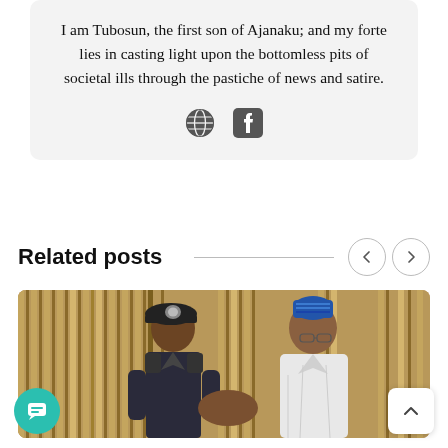I am Tubosun, the first son of Ajanaku; and my forte lies in casting light upon the bottomless pits of societal ills through the pastiche of news and satire.
[Figure (illustration): Social media icons: globe/website icon and Facebook icon]
Related posts
[Figure (photo): Two men: one in police uniform with black beret, one in white traditional attire with blue cap, standing in front of striped curtain]